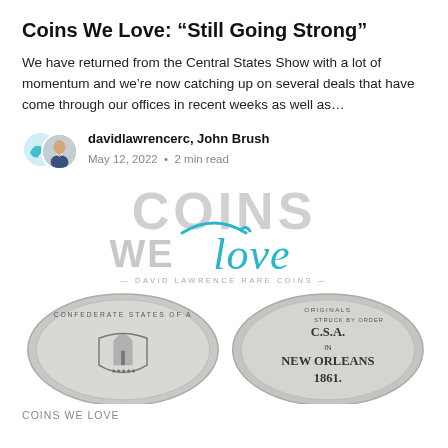Coins We Love: “Still Going Strong”
We have returned from the Central States Show with a lot of momentum and we’re now catching up on several deals that have come through our offices in recent weeks as well as…
davidlawrencerc, John Brush
May 12, 2022 • 2 min read
[Figure (logo): Coins We Love logo with large grey COINS text, teal dolphin graphic, teal cursive 'love', and tagline DAVID LAWRENCE RARE COINS]
[Figure (photo): Two coin images side by side: left shows obverse of Confederate States of America coin with shield and palm tree, right shows reverse with text 'ORIGINALS STRUCK BY ORDER OF C.S.A. IN NEW ORLEANS 1861.']
COINS WE LOVE